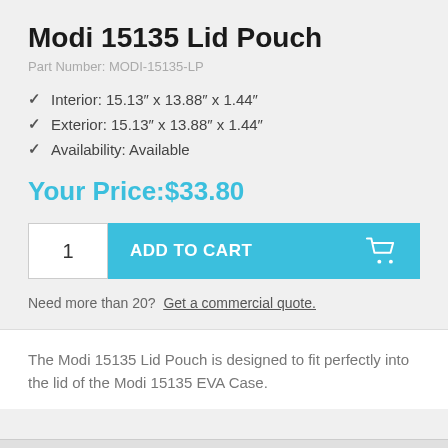Modi 15135 Lid Pouch
Part Number: MODI-15135-LP
Interior: 15.13″ x 13.88″ x 1.44″
Exterior: 15.13″ x 13.88″ x 1.44″
Availability: Available
Your Price:$33.80
1  ADD TO CART
Need more than 20?  Get a commercial quote.
The Modi 15135 Lid Pouch is designed to fit perfectly into the lid of the Modi 15135 EVA Case.